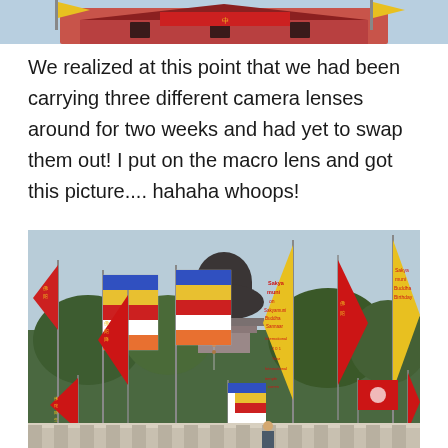[Figure (photo): Top portion of a photo showing a temple or building with colorful flags including yellow flags, partially cropped at the top of the page.]
We realized at this point that we had been carrying three different camera lenses around for two weeks and had yet to swap them out! I put on the macro lens and got this picture.... hahaha whoops!
[Figure (photo): Photo of the Tian Tan Buddha (Big Buddha) at Ngong Ping, Lantau Island, Hong Kong. The large bronze Buddha statue is visible in the background. In the foreground are numerous colorful flags and banners - red flags with yellow Chinese text, yellow banners with text reading 'Sakyamuni Buddha Birthday', Buddhist flags (striped blue/yellow/red/white), and Hong Kong flags. Steps leading up to the Buddha are visible with visitors climbing them.]